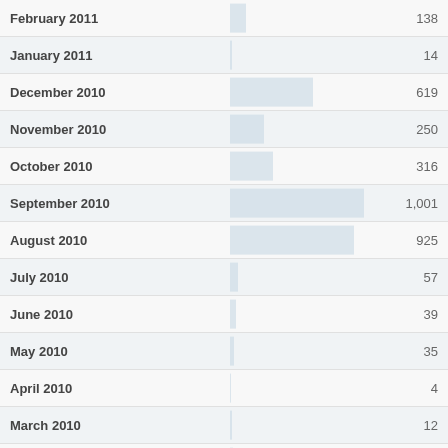| Month | Value |
| --- | --- |
| February 2011 | 138 |
| January 2011 | 14 |
| December 2010 | 619 |
| November 2010 | 250 |
| October 2010 | 316 |
| September 2010 | 1,001 |
| August 2010 | 925 |
| July 2010 | 57 |
| June 2010 | 39 |
| May 2010 | 35 |
| April 2010 | 4 |
| March 2010 | 12 |
| February 2010 | 24 |
| January 2010 | 39 |
| December 2009 |  |
| November 2009 |  |
| October 2009 | 827 |